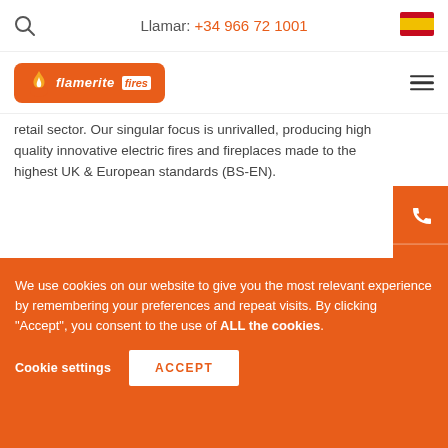Llamar: +34 966 72 1001
[Figure (logo): Flamerite Fires logo — orange rounded rectangle with flame icon and brand name]
retail sector. Our singular focus is unrivalled, producing high quality innovative electric fires and fireplaces made to the highest UK & European standards (BS-EN).
[Figure (photo): Aerial panoramic photo of a UK town with a tall church spire, green fields and countryside in the background under a cloudy sky]
We use cookies on our website to give you the most relevant experience by remembering your preferences and repeat visits. By clicking "Accept", you consent to the use of ALL the cookies.